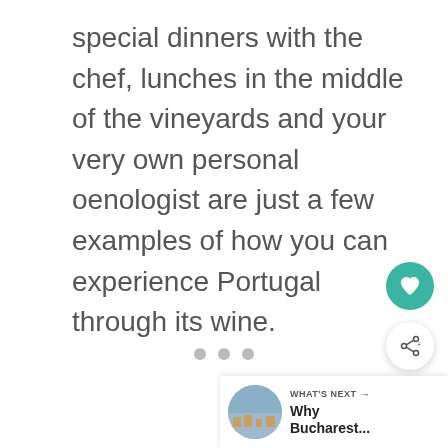special dinners with the chef, lunches in the middle of the vineyards and your very own personal oenologist are just a few examples of how you can experience Portugal through its wine.
[Figure (other): Image carousel placeholder area with three pagination dots]
[Figure (other): Heart/favorite circular teal button icon]
[Figure (other): Share circular white button icon with share symbol and plus sign]
WHAT'S NEXT → Why Bucharest...